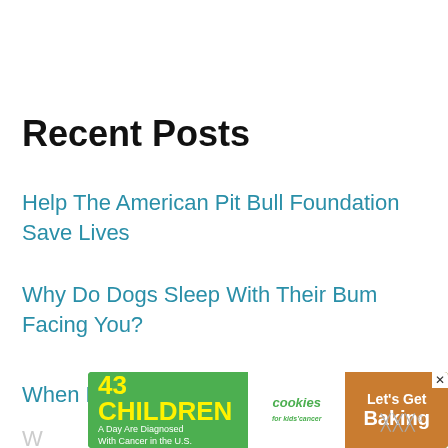Recent Posts
Help The American Pit Bull Foundation Save Lives
Why Do Dogs Sleep With Their Bum Facing You?
When Do Puppies Learn Their Name?
W...
[Figure (infographic): Advertisement banner: '43 CHILDREN A Day Are Diagnosed With Cancer in the U.S.' with cookies for kids cancer logo and 'Let's Get Baking' call to action on a green/brown background]